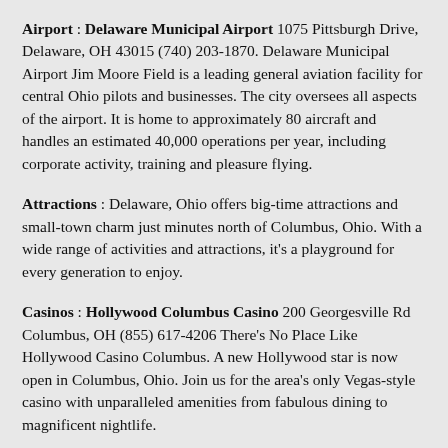Airport : Delaware Municipal Airport 1075 Pittsburgh Drive, Delaware, OH 43015 (740) 203-1870. Delaware Municipal Airport Jim Moore Field is a leading general aviation facility for central Ohio pilots and businesses. The city oversees all aspects of the airport. It is home to approximately 80 aircraft and handles an estimated 40,000 operations per year, including corporate activity, training and pleasure flying.
Attractions : Delaware, Ohio offers big-time attractions and small-town charm just minutes north of Columbus, Ohio. With a wide range of activities and attractions, it's a playground for every generation to enjoy.
Casinos : Hollywood Columbus Casino 200 Georgesville Rd Columbus, OH (855) 617-4206 There's No Place Like Hollywood Casino Columbus. A new Hollywood star is now open in Columbus, Ohio. Join us for the area's only Vegas-style casino with unparalleled amenities from fabulous dining to magnificent nightlife.
Dining : Delaware, Ohio offers a variety of dining options, including upscale, down home, and fast food. Visitors coming to the area will